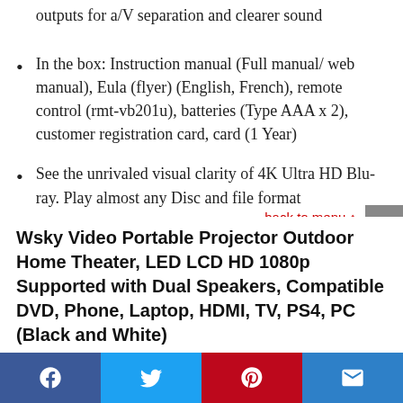outputs for a/V separation and clearer sound
In the box: Instruction manual (Full manual/ web manual), Eula (flyer) (English, French), remote control (rmt-vb201u), batteries (Type AAA x 2), customer registration card, card (1 Year)
See the unrivaled visual clarity of 4K Ultra HD Blu-ray. Play almost any Disc and file format
back to menu ↑
Wsky Video Portable Projector Outdoor Home Theater, LED LCD HD 1080p Supported with Dual Speakers, Compatible DVD, Phone, Laptop, HDMI, TV, PS4, PC (Black and White)